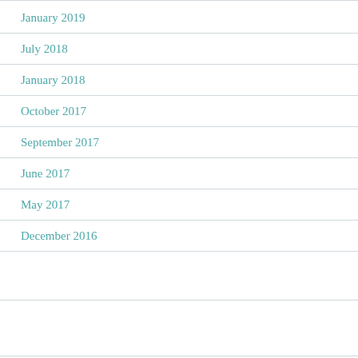January 2019
July 2018
January 2018
October 2017
September 2017
June 2017
May 2017
December 2016